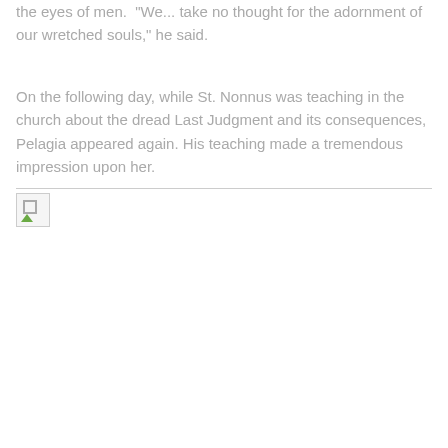the eyes of men.  "We... take no thought for the adornment of our wretched souls," he said.
On the following day, while St. Nonnus was teaching in the church about the dread Last Judgment and its consequences, Pelagia appeared again. His teaching made a tremendous impression upon her.
[Figure (photo): A broken image placeholder icon with a small landscape thumbnail indicator]